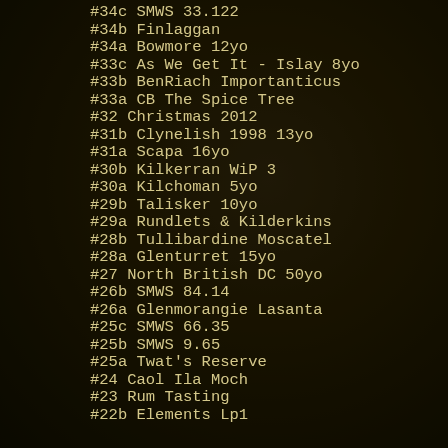#34c SMWS 33.122
#34b Finlaggan
#34a Bowmore 12yo
#33c As We Get It - Islay 8yo
#33b BenRiach Importanticus
#33a CB The Spice Tree
#32 Christmas 2012
#31b Clynelish 1998 13yo
#31a Scapa 16yo
#30b Kilkerran WiP 3
#30a Kilchoman 5yo
#29b Talisker 10yo
#29a Rundlets & Kilderkins
#28b Tullibardine Moscatel
#28a Glenturret 15yo
#27 North British DC 50yo
#26b SMWS 84.14
#26a Glenmorangie Lasanta
#25c SMWS 66.35
#25b SMWS 9.65
#25a Twat's Reserve
#24 Caol Ila Moch
#23 Rum Tasting
#22b Elements Lp1